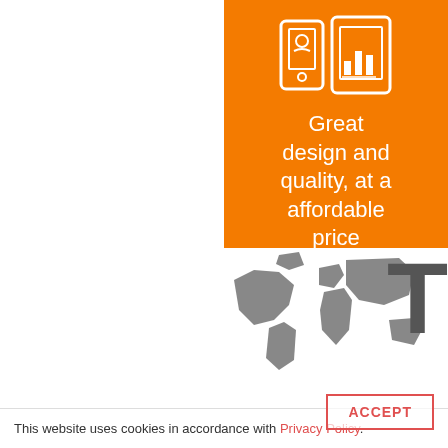[Figure (illustration): Orange panel with white icon of a mobile phone/tablet device and a bar chart/report icon side by side]
Great design and quality, at an affordable price
[Figure (illustration): Large bold letter T visible partially on the right side of the lower panel]
[Figure (map): World map silhouette in dark grey/charcoal color visible in the bottom right area]
This website uses cookies in accordance with Privacy Policy.
ACCEPT